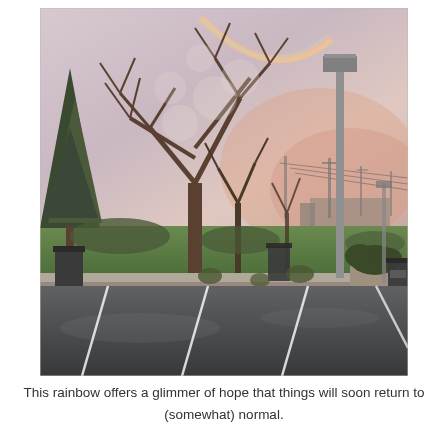[Figure (photo): A photograph of a rainy, overcast day in a parking lot. The wet asphalt reflects light, with white parking space lines visible. In the background are bare deciduous trees and an evergreen tree, a tall parking lot light pole, and a pink-hued sky. A rainbow is faintly visible in the upper center-right of the sky. There are trash cans and landscaping planters visible near the edge of the lot.]
This rainbow offers a glimmer of hope that things will soon return to (somewhat) normal.